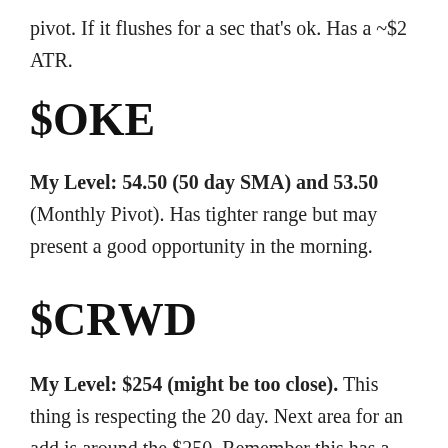pivot. If it flushes for a sec that's ok. Has a ~$2 ATR.
$OKE
My Level: 54.50 (50 day SMA) and 53.50 (Monthly Pivot). Has tighter range but may present a good opportunity in the morning.
$CRWD
My Level: $254 (might be too close). This thing is respecting the 20 day. Next area for an add is around the $250. Remember this has a